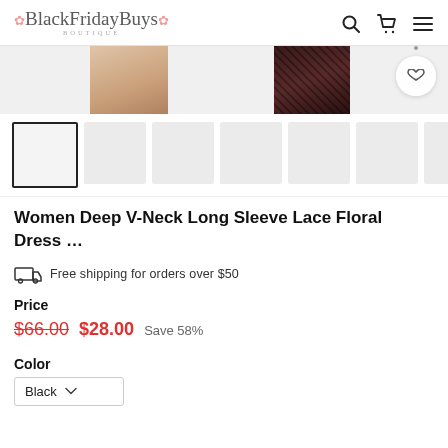BlackFridayBuys Boutique
[Figure (screenshot): Partial product images showing a lace dress from two angles, with navigation circle button]
[Figure (screenshot): Thumbnail strip: 7 product image thumbnails, first one selected with black border]
Women Deep V-Neck Long Sleeve Lace Floral Dress …
Free shipping for orders over $50
Price
$66.00  $28.00  Save 58%
Color
Black